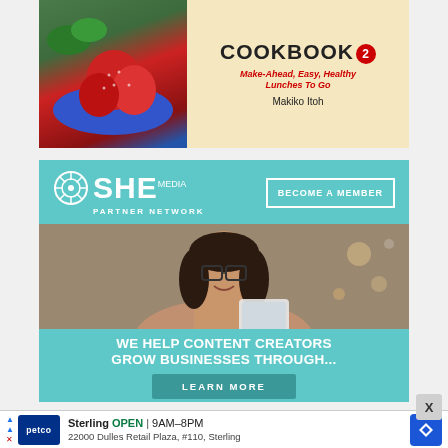[Figure (photo): Cookbook advertisement banner: 'COOKBOOK 2 - Make-Ahead, Easy, Healthy Lunches To Go by Makiko Itoh' with food photo on left]
[Figure (photo): SHE Media Partner Network advertisement with 'BECOME A MEMBER' button, photo of smiling woman with glasses and tablet, tagline 'WE HELP CONTENT CREATORS GROW BUSINESSES THROUGH...' and 'LEARN MORE' button]
[Figure (photo): Partial bottom advertisement showing bowl of rice with 'THE' text overlay]
[Figure (other): Petco advertisement banner: Sterling location, OPEN 9AM-8PM, 22000 Dulles Retail Plaza, #110, Sterling]